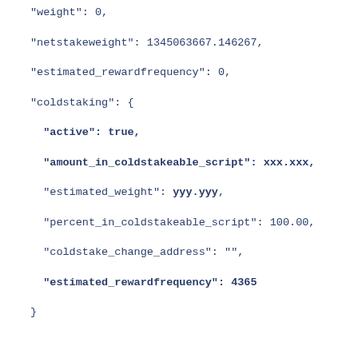"weight": 0,
"netstakeweight": 1345063667.146267,
"estimated_rewardfrequency": 0,
"coldstaking": {
"active": true,
"amount_in_coldstakeable_script": xxx.xxx,
"estimated_weight": yyy.yyy,
"percent_in_coldstakeable_script": 100.00,
"coldstake_change_address": "",
"estimated_rewardfrequency": 4365
}